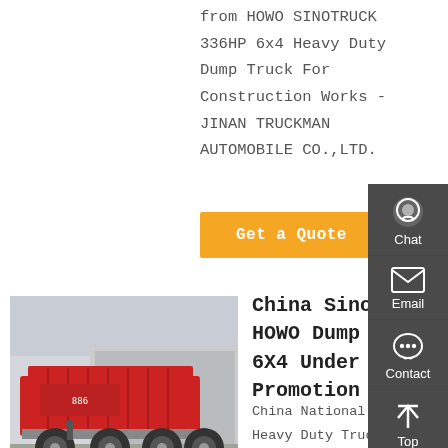from HOWO SINOTRUCK 336HP 6x4 Heavy Duty Dump Truck For Construction Works - JINAN TRUCKMAN AUTOMOBILE CO.,LTD.
Get a Quote
[Figure (photo): Red Sinotruk HOWO 6x4 dump truck viewed from rear-left angle, parked in a yard with industrial buildings in the background.]
China Sinotruk HOWO Dump Truck 6X4 Under Promotion ...
China National Heavy Duty Truck Group Co., Ltd. (SINOTRUK) is the